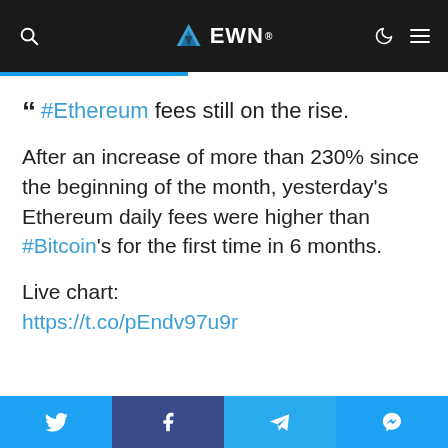EWN
#Ethereum fees still on the rise.
After an increase of more than 230% since the beginning of the month, yesterday's Ethereum daily fees were higher than #Bitcoin's for the first time in 6 months.
Live chart:
https://t.co/pEndv97u9r
Twitter | Facebook | Telegram | Messenger